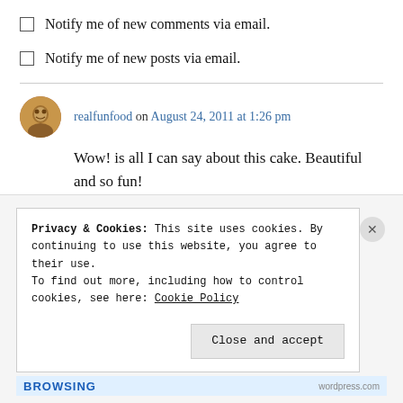Notify me of new comments via email.
Notify me of new posts via email.
realfunfood on August 24, 2011 at 1:26 pm
Wow! is all I can say about this cake. Beautiful and so fun!
↳ Reply
Privacy & Cookies: This site uses cookies. By continuing to use this website, you agree to their use. To find out more, including how to control cookies, see here: Cookie Policy
Close and accept